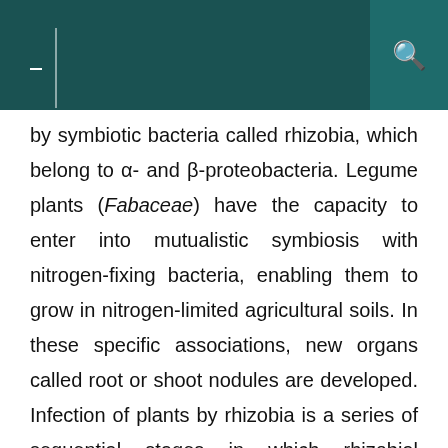by symbiotic bacteria called rhizobia, which belong to α- and β-proteobacteria. Legume plants (Fabaceae) have the capacity to enter into mutualistic symbiosis with nitrogen-fixing bacteria, enabling them to grow in nitrogen-limited agricultural soils. In these specific associations, new organs called root or shoot nodules are developed. Infection of plants by rhizobia is a series of sequential stages in which rhizobial lipochitooligosaccharide, called the Nod factor, activates plant transmission signaling and initiates nodule development. In the nodules the bacteria multiply and differentiate into nitrogen-fixing